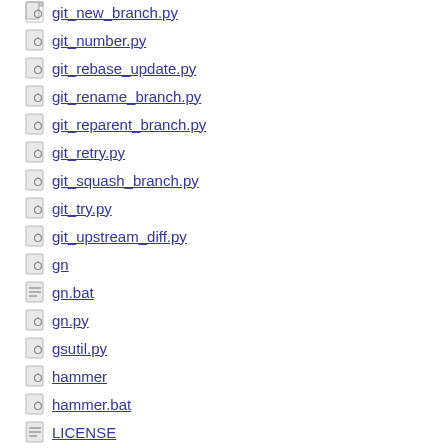git_new_branch.py
git_number.py
git_rebase_update.py
git_rename_branch.py
git_reparent_branch.py
git_retry.py
git_squash_branch.py
git_try.py
git_upstream_diff.py
gn
gn.bat
gn.py
gsutil.py
hammer
hammer.bat
LICENSE
my_activity.py
my_reviews.py
ninja